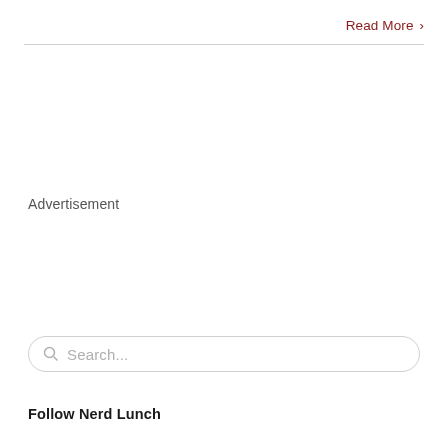Read More >
Advertisement
Search...
Follow Nerd Lunch